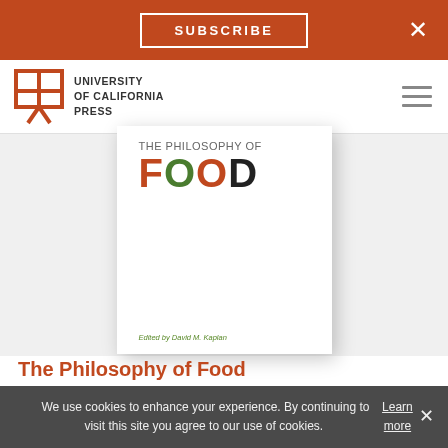SUBSCRIBE
[Figure (logo): University of California Press logo with stylized open book icon and text UNIVERSITY of CALIFORNIA PRESS]
[Figure (photo): Book cover of The Philosophy of Food showing the word FOOD in large letters with food-themed imagery, edited by David M. Kaplan, published by University of California Press]
The Philosophy of Food
by David M. Kaplan (Editor)
February 2012
Paperback $29.95  $24.00
We use cookies to enhance your experience. By continuing to visit this site you agree to our use of cookies. Learn more